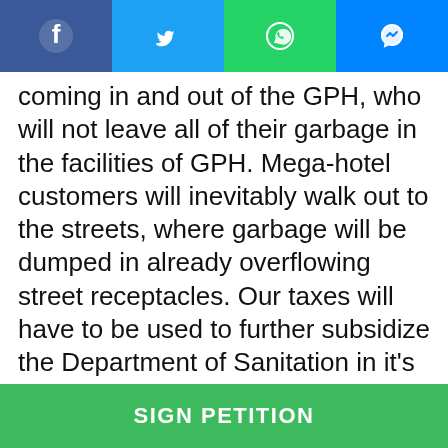[Figure (screenshot): Social media share buttons bar: Facebook (blue), Twitter (light blue), WhatsApp (green), Messenger (blue)]
coming in and out of the GPH, who will not leave all of their garbage in the facilities of GPH. Mega-hotel customers will inevitably walk out to the streets, where garbage will be dumped in already overflowing street receptacles. Our taxes will have to be used to further subsidize the Department of Sanitation in it's already backed up efforts to keep up with the over-flowing sanitation situation in this area due to the over-development that took place before the rezoning. In conclusion, while we are not opposed in concept to GPH's owners improving or looking out for their financial future, we are seriously concerned about the possible deleterious effects of their plans if this project were to...
SIGN PETITION